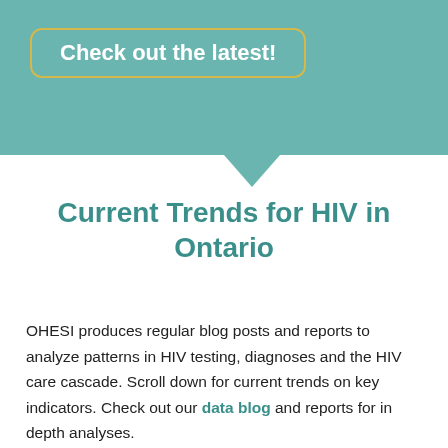Check out the latest!
Current Trends for HIV in Ontario
OHESI produces regular blog posts and reports to analyze patterns in HIV testing, diagnoses and the HIV care cascade. Scroll down for current trends on key indicators. Check out our data blog and reports for in depth analyses.